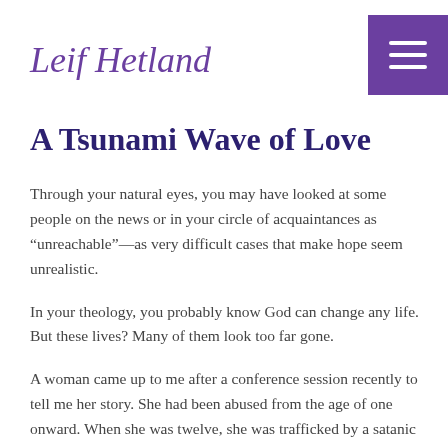Leif Hetland
A Tsunami Wave of Love
Through your natural eyes, you may have looked at some people on the news or in your circle of acquaintances as “unreachable”—as very difficult cases that make hope seem unrealistic.
In your theology, you probably know God can change any life. But these lives? Many of them look too far gone.
A woman came up to me after a conference session recently to tell me her story. She had been abused from the age of one onward. When she was twelve, she was trafficked by a satanic cult and horrifically abused over the next few years. She had lost eleven babies, some of them used as human